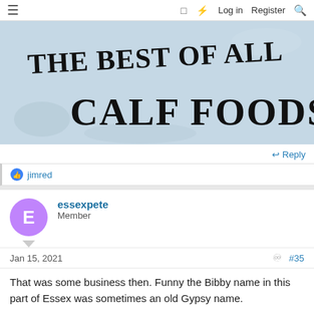≡  □  ⚡  Log in  Register  🔍
[Figure (photo): Vintage painted sign reading 'The Best of All Calf Foods.' on a white/light blue weathered surface with decorative serif lettering]
Reply
👍 jimred
essexpete
Member
Jan 15, 2021  #35
That was some business then. Funny the Bibby name in this part of Essex was sometimes an old Gypsy name.
Reply